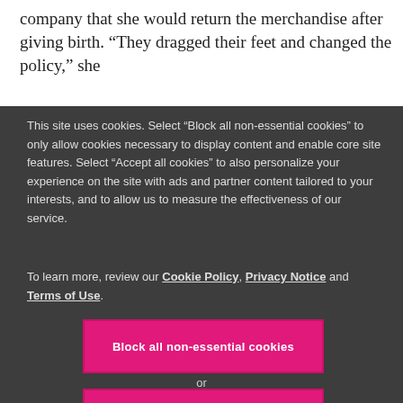company that she would return the merchandise after giving birth. “They dragged their feet and changed the policy,” she
This site uses cookies. Select “Block all non-essential cookies” to only allow cookies necessary to display content and enable core site features. Select “Accept all cookies” to also personalize your experience on the site with ads and partner content tailored to your interests, and to allow us to measure the effectiveness of our service.

To learn more, review our Cookie Policy, Privacy Notice and Terms of Use.
Block all non-essential cookies
or
Accept all cookies